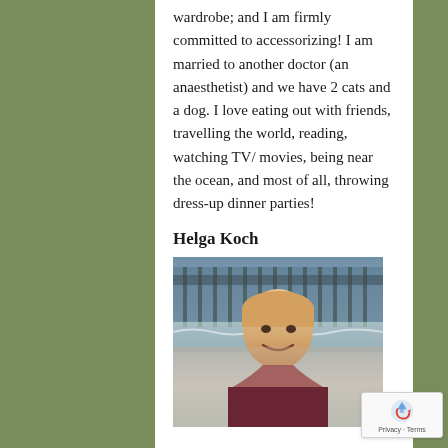wardrobe; and I am firmly committed to accessorizing! I am married to another doctor (an anaesthetist) and we have 2 cats and a dog. I love eating out with friends, travelling the world, reading, watching TV/ movies, being near the ocean, and most of all, throwing dress-up dinner parties!
Helga Koch
[Figure (photo): Photo of a smiling woman with short light hair at a beach with a pier visible in the background]